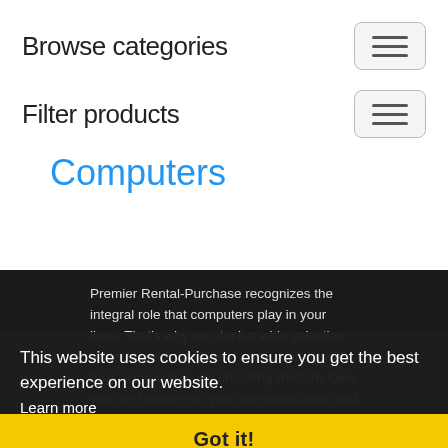Browse categories
Filter products
Computers
Premier Rental-Purchase recognizes the integral role that computers play in your lives. That's why we stock a wide selection of desktops, tablets, and laptops along with their accessories. By choosing Rent-To-Own you are broadening your communication and efficiency possibilities with a plan that allows flexibility and freedom. Browse online or visit our store to select a computer from quality
This website uses cookies to ensure you get the best experience on our website.
Learn more
Got it!